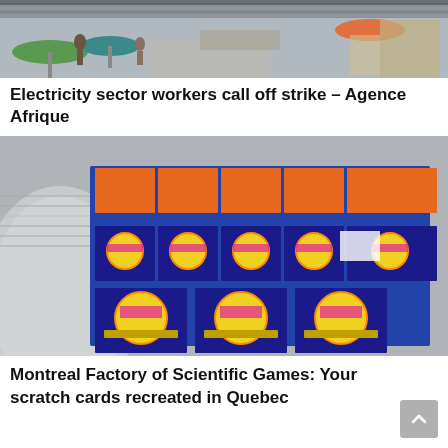[Figure (photo): Outdoor industrial/market scene with umbrellas and machinery, partial view at top of page]
Electricity sector workers call off strike – Agence Afrique
[Figure (photo): Large rolls of printed scratch lottery cards at a factory, showing colorful lottery ticket designs]
Montreal Factory of Scientific Games: Your scratch cards recreated in Quebec